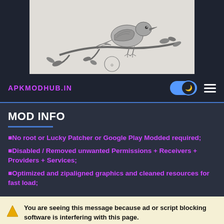[Figure (illustration): Black and white vintage engraving illustration of a bird perched on a branch with leaves, shown against a light background, inset within a dark navy background]
APKMODHUB.IN
MOD INFO
■No root or Lucky Patcher or Google Play Modded required;
■Disabled / Removed unwanted Permissions + Receivers + Providers + Services;
■Optimized and zipaligned graphics and cleaned resources for fast load;
You are seeing this message because ad or script blocking software is interfering with this page. Disable any ad or script blocking software, then reload this page.